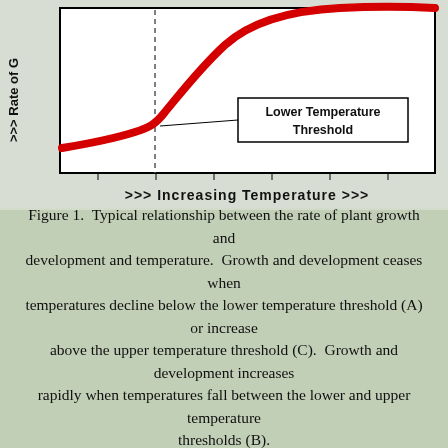[Figure (continuous-plot): Graph showing rate of plant growth (y-axis, labeled '>> Rate of G' with upward arrows) vs Increasing Temperature (x-axis, labeled '>>> Increasing Temperature >>>'). A red curve starts flat/low on the left, rises steeply to the upper right. A vertical dashed line marks the 'Lower Temperature Threshold' (labeled in a box). The chart has a white background with black border.]
Figure 1.  Typical relationship between the rate of plant growth and development and temperature.  Growth and development ceases when temperatures decline below the lower temperature threshold (A) or increase above the upper temperature threshold (C).  Growth and development increases rapidly when temperatures fall between the lower and upper temperature thresholds (B).